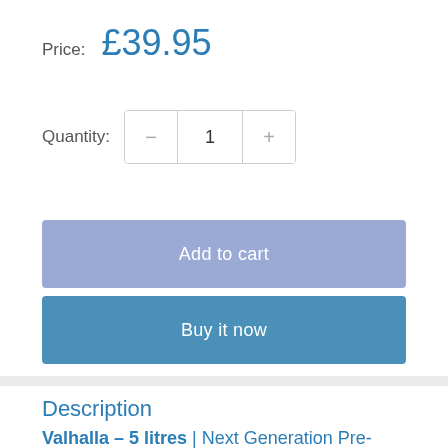Price: £39.95
Quantity: 1
Add to cart
Buy it now
Description
Valhalla – 5 litres | Next Generation Pre-Spray.